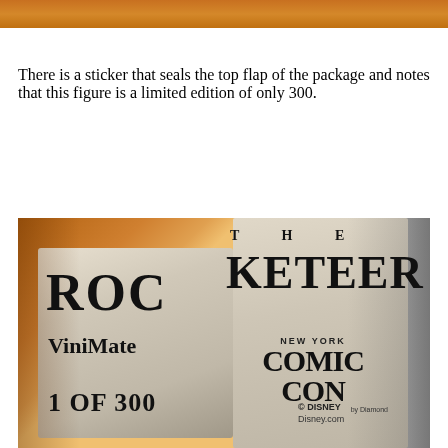[Figure (photo): Orange/brown banner strip at the top of the page, partial image of the Rocketeer Vinimate package top.]
There is a sticker that seals the top flap of the package and notes that this figure is a limited edition of only 300.
[Figure (photo): Close-up photo of the side of a Rocketeer Vinimate collectible figure box. The box reads 'THE ROCKETEER' in large letters, 'ViniMate' and '1 OF 300' on the left panel, and 'NEW YORK COMIC CON by Diamond' logo on the right panel, with Disney copyright and Disney.com printed below.]